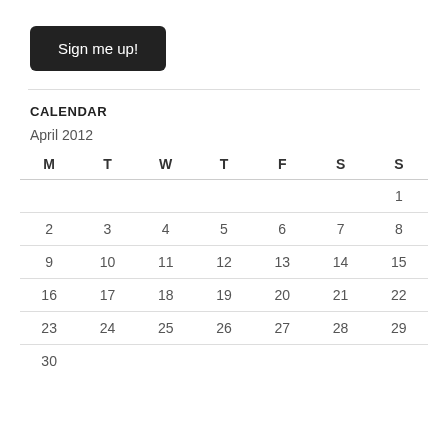Sign me up!
CALENDAR
April 2012
| M | T | W | T | F | S | S |
| --- | --- | --- | --- | --- | --- | --- |
|  |  |  |  |  |  | 1 |
| 2 | 3 | 4 | 5 | 6 | 7 | 8 |
| 9 | 10 | 11 | 12 | 13 | 14 | 15 |
| 16 | 17 | 18 | 19 | 20 | 21 | 22 |
| 23 | 24 | 25 | 26 | 27 | 28 | 29 |
| 30 |  |  |  |  |  |  |